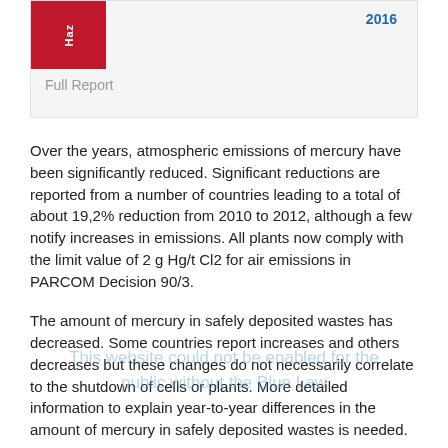[Figure (other): Header box with red block labeled 'Haz', year link '2016', and 'Full Report' text]
Over the years, atmospheric emissions of mercury have been significantly reduced. Significant reductions are reported from a number of countries leading to a total of about 19,2% reduction from 2010 to 2012, although a few notify increases in emissions. All plants now comply with the limit value of 2 g Hg/t Cl2 for air emissions in PARCOM Decision 90/3.
The amount of mercury in safely deposited wastes has decreased. Some countries report increases and others decreases but these changes do not necessarily correlate to the shutdown of cells or plants. More detailed information to explain year-to-year differences in the amount of mercury in safely deposited wastes is needed.
Altogether the reported figures show clearly the results of the efforts, which have been achieved since the last assessment in 2013. Chlorine production capacity with mercury cells fell by 0,06% from 2011 to 2012 in the OSPAR maritime area. Over